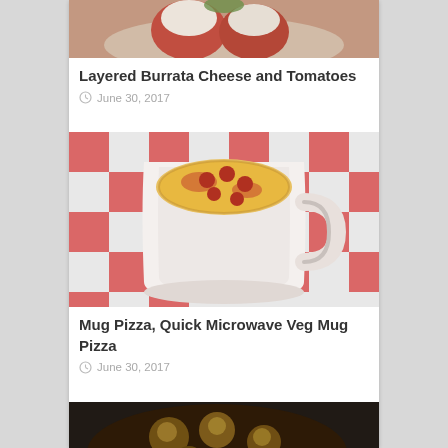[Figure (photo): Layered Burrata Cheese and Tomatoes dish on a plate, partially visible at top]
Layered Burrata Cheese and Tomatoes
June 30, 2017
[Figure (photo): Mug Pizza in a white ceramic mug on a red checkered tablecloth]
Mug Pizza, Quick Microwave Veg Mug Pizza
June 30, 2017
[Figure (photo): Cauliflower dish in a dark cast iron skillet, partially visible at bottom]